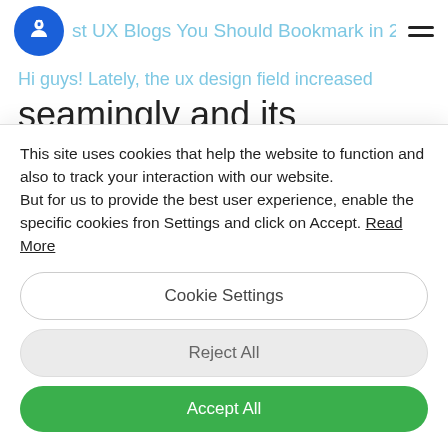st UX Blogs You Should Bookmark in 2021
Hi guys! Lately, the ux design field increased seamingly and its popularity on the internet went only up, but in this large expanse of sources and publications- there are a few that stand out quite a lot! In lieu of the same. here is
This site uses cookies that help the website to function and also to track your interaction with our website.
But for us to provide the best user experience, enable the specific cookies fron Settings and click on Accept. Read More
Cookie Settings
Reject All
Accept All